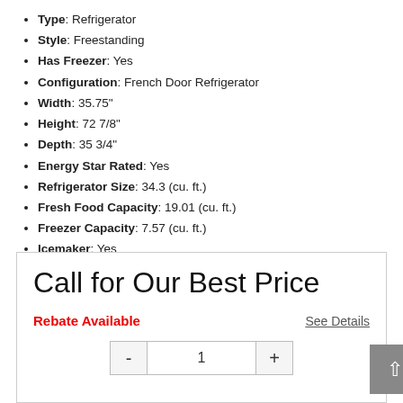Type: Refrigerator
Style: Freestanding
Has Freezer: Yes
Configuration: French Door Refrigerator
Width: 35.75"
Height: 72 7/8"
Depth: 35 3/4"
Energy Star Rated: Yes
Refrigerator Size: 34.3 (cu. ft.)
Fresh Food Capacity: 19.01 (cu. ft.)
Freezer Capacity: 7.57 (cu. ft.)
Icemaker: Yes
Dispenser: Yes
Counter Depth: No
Sabbath Mode: No
WiFi Connected: No
See More
Call for Our Best Price
Rebate Available
See Details
1